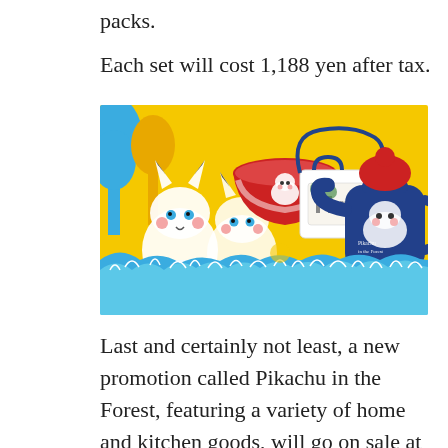packs.
Each set will cost 1,188 yen after tax.
[Figure (photo): Promotional image for Pikachu in the Forest merchandise including a red bowl with Pikachu design, a white crossbody bag with forest illustration, and a navy blue teapot with red lid featuring Pikachu artwork, all on a yellow and blue illustrated background with Pikachu and forest characters.]
Last and certainly not least, a new promotion called Pikachu in the Forest, featuring a variety of home and kitchen goods, will go on sale at all Pokemon